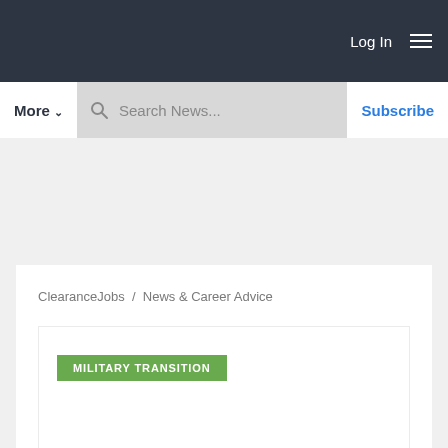Log In
More  Search News...  Subscribe
ClearanceJobs / News & Career Advice
MILITARY TRANSITION